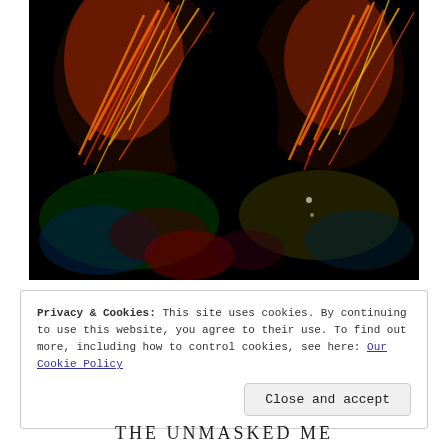[Figure (photo): Abstract colorful photo with orange, red, and yellow flame-like light streaks against a dark black background, resembling a person or figure surrounded by swirling colored light trails.]
Privacy & Cookies: This site uses cookies. By continuing to use this website, you agree to their use. To find out more, including how to control cookies, see here: Our Cookie Policy
Close and accept
THE UNMASKED ME